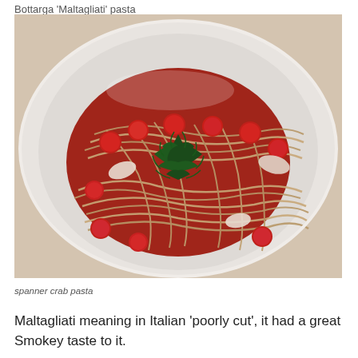Bottarga 'Maltagliati' pasta
[Figure (photo): Overhead view of a white bowl containing spanner crab pasta with tomato sauce, cherry tomatoes, and green herb garnish in the center]
spanner crab pasta
Maltagliati meaning in Italian 'poorly cut', it had a great Smokey taste to it.